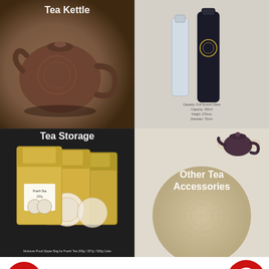[Figure (photo): Tea Kettle product image - brown clay/cast iron teapot with decorative engravings, label 'Tea Kettle' overlaid in white bold text at top]
[Figure (photo): Glass tea tumblers / bottles - clear glass and dark matte bottle product image with small text description below]
[Figure (photo): Tea Storage - gold/kraft moisture proof zipper bags for Puerh Tea, label 'Tea Storage' overlaid in white bold text, caption at bottom: Moisture Proof Zipper Bag for Puerh Tea 200g / 357g / 500g Cake]
[Figure (photo): Other Tea Accessories - circular grass/rattan tea mat coaster, small purple Yixing teapot on tray in upper right, label 'Other Tea Accessories' overlaid in white bold text]
NEW ARRIVALS
[Figure (illustration): Red circle with shopping bag and heart icon - clickable button]
[Figure (illustration): Red circle with chat/message bubble icon - clickable button]
[Figure (photo): New arrivals product image left - circular tea cake / puerh disc with green outer ring on white background]
[Figure (photo): New arrivals product image right - circular tea cake / puerh disc with purple tones]